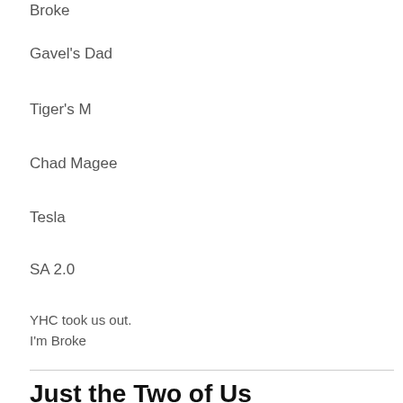Broke
Gavel's Dad
Tiger's M
Chad Magee
Tesla
SA 2.0
YHC took us out.
I'm Broke
Just the Two of Us